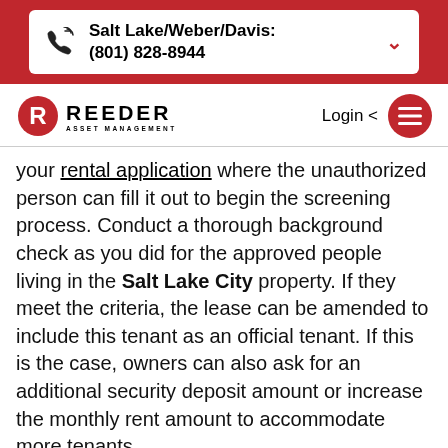Salt Lake/Weber/Davis: (801) 828-8944
[Figure (logo): Reeder Asset Management logo with red house icon]
your rental application where the unauthorized person can fill it out to begin the screening process. Conduct a thorough background check as you did for the approved people living in the Salt Lake City property. If they meet the criteria, the lease can be amended to include this tenant as an official tenant. If this is the case, owners can also ask for an additional security deposit amount or increase the monthly rent amount to accommodate more tenants.

If the first tenant isn't willing to add their guest to